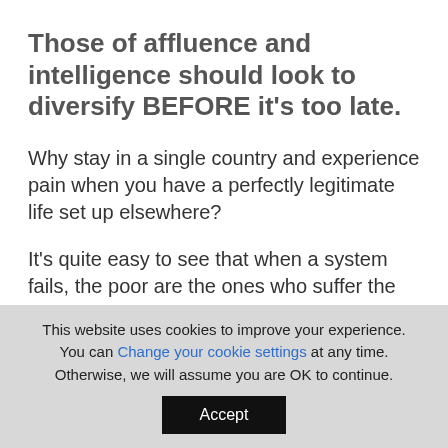Those of affluence and intelligence should look to diversify BEFORE it's too late.
Why stay in a single country and experience pain when you have a perfectly legitimate life set up elsewhere?
It's quite easy to see that when a system fails, the poor are the ones who suffer the worst. If you are a person of action, it's vital to set up flags around the world in strategic locations to protect yourself and your wealth.
This website uses cookies to improve your experience. You can Change your cookie settings at any time. Otherwise, we will assume you are OK to continue.